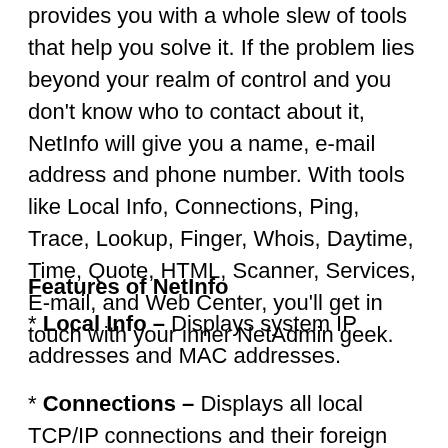provides you with a whole slew of tools that help you solve it. If the problem lies beyond your realm of control and you don't know who to contact about it, NetInfo will give you a name, e-mail address and phone number. With tools like Local Info, Connections, Ping, Trace, Lookup, Finger, Whois, Daytime, Time, Quote, HTML, Scanner, Services, E-mail, and Web Center, you'll get in touch with your inner NetAdmin geek.
Features of NetInfo
* Local Info – Displays system IP addresses and MAC addresses.
* Connections – Displays all local TCP/IP connections and their foreign connection IP